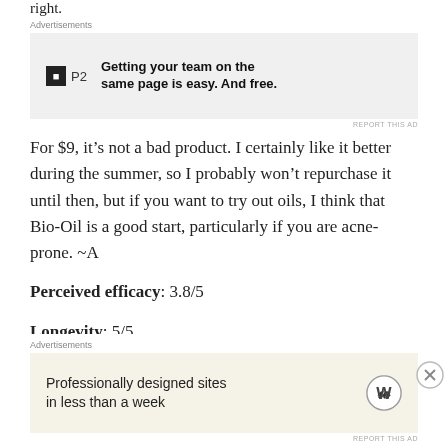right.
[Figure (screenshot): Advertisement banner for P2 with logo and text: Getting your team on the same page is easy. And free.]
For $9, it’s not a bad product. I certainly like it better during the summer, so I probably won’t repurchase it until then, but if you want to try out oils, I think that Bio-Oil is a good start, particularly if you are acne-prone. ~A
Perceived efficacy: 3.8/5
Longevity: 5/5
[Figure (screenshot): Advertisement banner for WordPress.com: Professionally designed sites in less than a week]